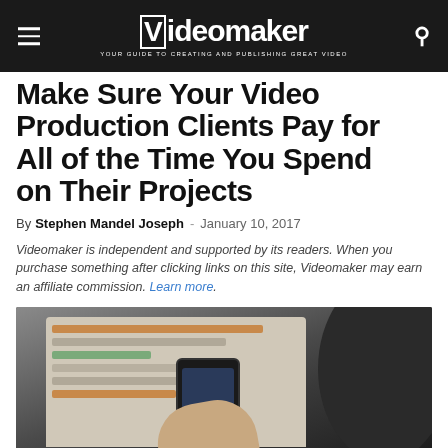Videomaker — YOUR GUIDE TO CREATING AND PUBLISHING GREAT VIDEO
Make Sure Your Video Production Clients Pay for All of the Time You Spend on Their Projects
By Stephen Mandel Joseph - January 10, 2017
Videomaker is independent and supported by its readers. When you purchase something after clicking links on this site, Videomaker may earn an affiliate commission. Learn more.
[Figure (photo): Person holding a smartphone in front of an open laptop on a wooden desk]